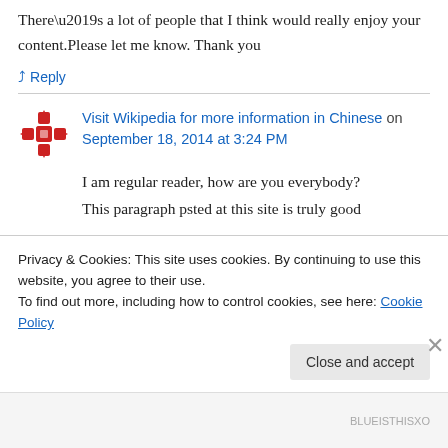There’s a lot of people that I think would really enjoy your content.Please let me know. Thank you
↳ Reply
Visit Wikipedia for more information in Chinese on September 18, 2014 at 3:24 PM
I am regular reader, how are you everybody?
This paragraph psted at this site is truly good
Privacy & Cookies: This site uses cookies. By continuing to use this website, you agree to their use.
To find out more, including how to control cookies, see here: Cookie Policy
Close and accept